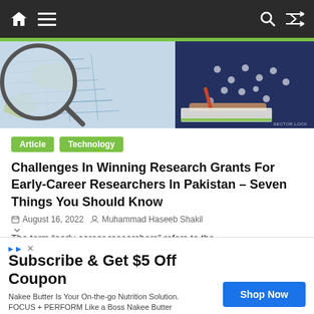Navigation bar with home, menu, search, shuffle icons
[Figure (photo): Hero image showing a magnifying glass over a map on the left and a person in a polka-dot top writing with a pen on the right, with a watermark in the bottom right corner.]
Article   Technology
Challenges In Winning Research Grants For Early-Career Researchers In Pakistan – Seven Things You Should Know
August 16, 2022   Muhammad Haseeb Shakil
The term “early-career researchers” refers to the professionals in their first four years of research activities.
Subscribe & Get $5 Off Coupon
Nakee Butter Is Your On-the-go Nutrition Solution.
FOCUS + PERFORM Like a Boss Nakee Butter
Shop Now